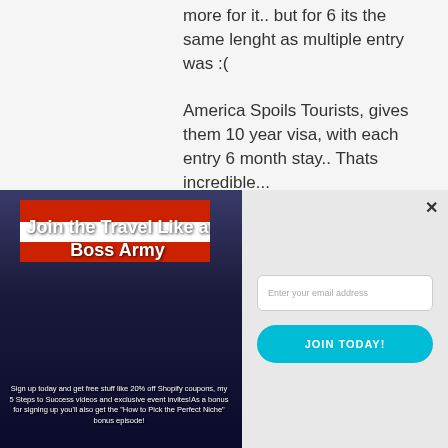more for it.. but for 6 its the same lenght as multiple entry was :(

America Spoils Tourists, gives them 10 year visa, with each entry 6 month stay.. Thats incredible...
[Figure (illustration): Modal popup with 'Join the Travel Like a Boss Army' image on the left showing people in martial arts uniforms with American flag stripes, signup text below, and email form on the right with 'Enter your email address' input and 'JOIN TODAY!' cyan button. A close X button in top right.]